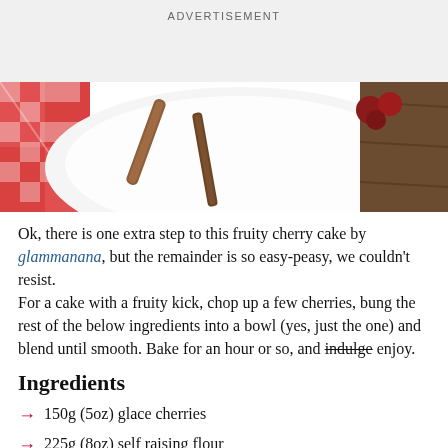ADVERTISEMENT
[Figure (photo): Close-up photo of a white plate with cinnamon sticks and cherries on a red and white checkered tablecloth on a wooden surface]
Ok, there is one extra step to this fruity cherry cake by glammanana, but the remainder is so easy-peasy, we couldn't resist.
For a cake with a fruity kick, chop up a few cherries, bung the rest of the below ingredients into a bowl (yes, just the one) and blend until smooth. Bake for an hour or so, and indulge enjoy.
Ingredients
150g (5oz) glace cherries
225g (8oz) self raising flour